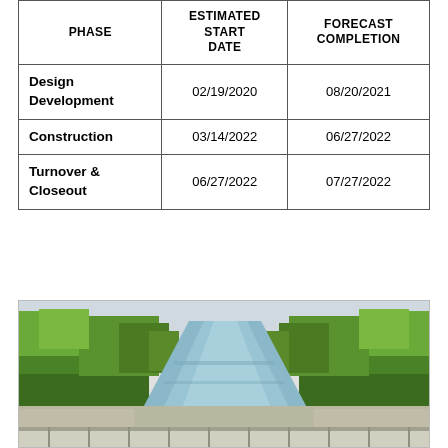| PHASE | ESTIMATED START DATE | FORECAST COMPLETION |
| --- | --- | --- |
| Design Development | 02/19/2020 | 08/20/2021 |
| Construction | 03/14/2022 | 06/27/2022 |
| Turnover & Closeout | 06/27/2022 | 07/27/2022 |
[Figure (photo): Aerial or bridge-level view of a narrow canal or waterway flanked by dense green trees, with a railing in the foreground and overcast sky.]